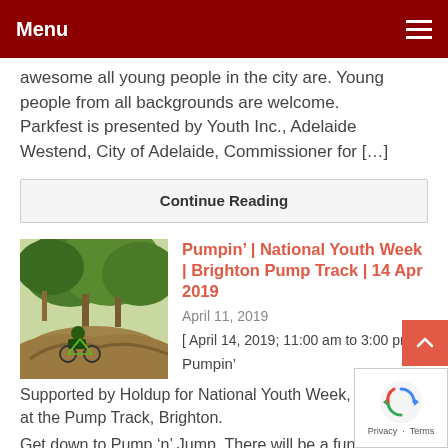Menu
awesome all young people in the city are. Young people from all backgrounds are welcome. Parkfest is presented by Youth Inc., Adelaide Westend, City of Adelaide, Commissioner for [...]
Continue Reading
[Figure (photo): A person on a bicycle on a dirt pump track with trees in the background]
Pumpin’ | National Youth Week | Brighton Pump Track | 14 Apr 2019
April 11, 2019
[ April 14, 2019; 11:00 am to 3:00 pm. ]
Pumpin’
Supported by Holdup for National Youth Week, enjoyed at the Pump Track, Brighton.
Get down to Pump ‘n’ Jump. There will be a fun day of